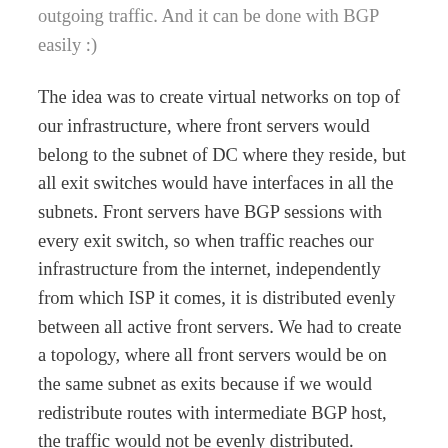outgoing traffic. And it can be done with BGP easily :)
The idea was to create virtual networks on top of our infrastructure, where front servers would belong to the subnet of DC where they reside, but all exit switches would have interfaces in all the subnets. Front servers have BGP sessions with every exit switch, so when traffic reaches our infrastructure from the internet, independently from which ISP it comes, it is distributed evenly between all active front servers. We had to create a topology, where all front servers would be on the same subnet as exits because if we would redistribute routes with intermediate BGP host, the traffic would not be evenly distributed.
We see recent enhancements in routing software where weight can be assigned to ECMP balancing, but they were not available half a year ago when we created this topology and we did not research this possibility yet.